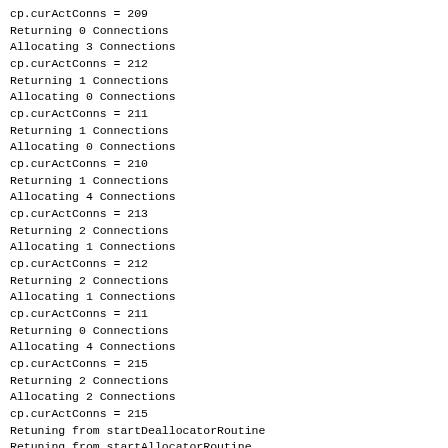cp.curActConns = 209
Returning 0 Connections
Allocating 3 Connections
cp.curActConns = 212
Returning 1 Connections
Allocating 0 Connections
cp.curActConns = 211
Returning 1 Connections
Allocating 0 Connections
cp.curActConns = 210
Returning 1 Connections
Allocating 4 Connections
cp.curActConns = 213
Returning 2 Connections
Allocating 1 Connections
cp.curActConns = 212
Returning 2 Connections
Allocating 1 Connections
cp.curActConns = 211
Returning 0 Connections
Allocating 4 Connections
cp.curActConns = 215
Returning 2 Connections
Allocating 2 Connections
cp.curActConns = 215
Retuning from startDeallocatorRoutine
Retuning from startAllocatorRoutine
2022-04-25T00:18:11.733+05:30 [Info] [Queryport-connpool
2022-04-25T00:18:12.701+05:30 [Info] [Queryport-connpool
--- PASS: TestSustainedHighConns (59.07s)